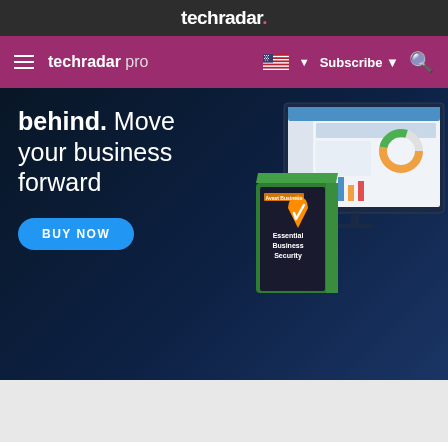techradar.
techradar pro  Subscribe
[Figure (screenshot): Avast Business Essential Security advertisement banner. Dark blue background with white text reading 'behind. Move your business forward' and a blue 'BUY NOW' button. Right side shows product box and computer monitor with dashboard interface.]
But by using a wide net, you can increase your